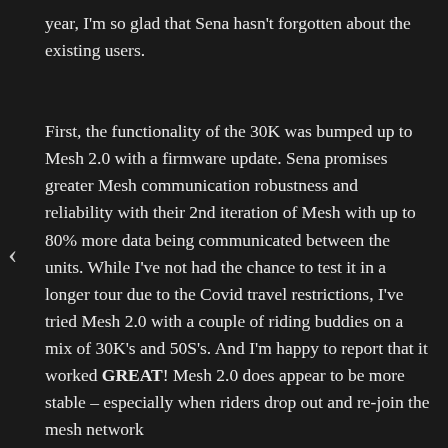year, I'm so glad that Sena hasn't forgotten about the existing users.
First, the functionality of the 30K was bumped up to Mesh 2.0 with a firmware update. Sena promises greater Mesh communication robustness and reliability with their 2nd iteration of Mesh with up to 80% more data being communicated between the units. While I've not had the chance to test it in a longer tour due to the Covid travel restrictions, I've tried Mesh 2.0 with a couple of riding buddies on a mix of 30K's and 50S's. And I'm happy to report that it worked GREAT! Mesh 2.0 does appear to be more stable – especially when riders drop out and re-join the mesh network